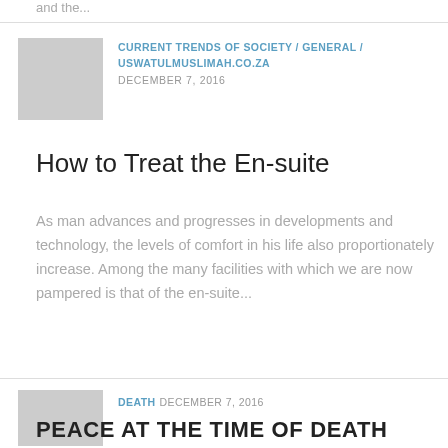and the...
[Figure (photo): Gray placeholder thumbnail image for first article]
CURRENT TRENDS OF SOCIETY / GENERAL / USWATULMUSLIMAH.CO.ZA
DECEMBER 7, 2016
How to Treat the En-suite
As man advances and progresses in developments and technology, the levels of comfort in his life also proportionately increase. Among the many facilities with which we are now pampered is that of the en-suite...
[Figure (photo): Gray placeholder thumbnail image for second article]
DEATH  DECEMBER 7, 2016
PEACE AT THE TIME OF DEATH